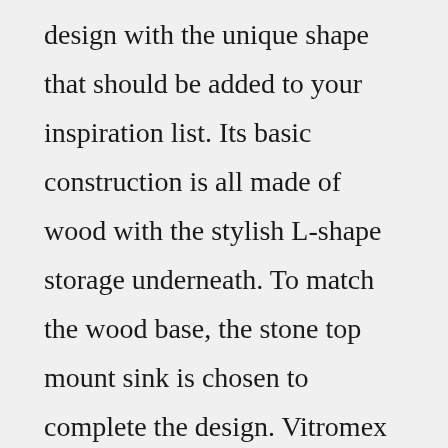design with the unique shape that should be added to your inspiration list. Its basic construction is all made of wood with the stylish L-shape storage underneath. To match the wood base, the stone top mount sink is chosen to complete the design. Vitromex – Available at numerous retailers nationwide, the Vitromex range of wood look tiles retails in the mid-range at $6-10 per square foot. It's a relatively small range with only 8 different tile wood floors, but